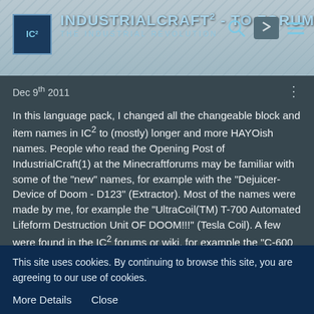IndustrialCraft² - The Forum — The Industrial Revolution
Dec 9th 2011
In this language pack, I changed all the changeable block and item names in IC² to (mostly) longer and more HAYOish names. People who read the Opening Post of IndustrialCraft(1) at the Minecraftforums may be familiar with some of the "new" names, for example with the "Dejuicer-Device of Doom - D123" (Extractor). Most of the names were made by me, for example the "UltraCoil(TM) T-700 Automated Lifeform Destruction Unit OF DOOM!!!" (Tesla Coil). A few were found in the IC² forums or wiki, for example the "C-600 capsule cell container" (cell).
Installation:
ONLY IC² PACK:
This site uses cookies. By continuing to browse this site, you are agreeing to our use of cookies.
More Details   Close